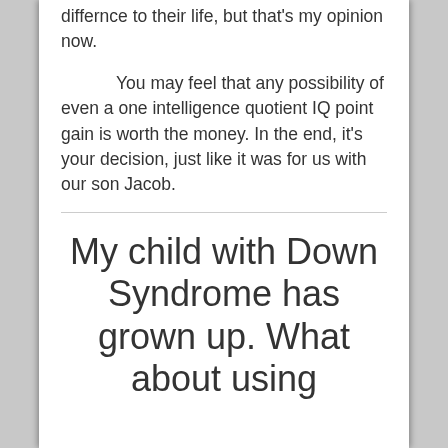differnce to their life, but that's my opinion now.
You may feel that any possibility of even a one intelligence quotient IQ point gain is worth the money. In the end, it's your decision, just like it was for us with our son Jacob.
My child with Down Syndrome has grown up. What about using